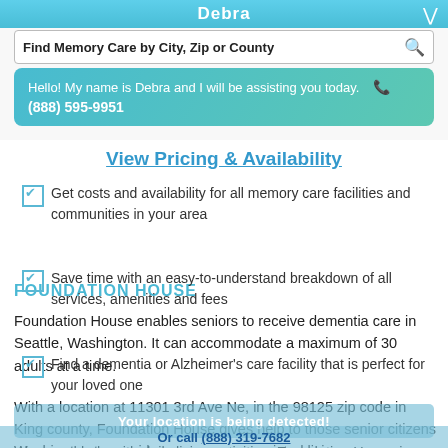Debra
Find Memory Care by City, Zip or County
Hello! My name is Debra and I will be assisting you today. (888) 595-9951
View Pricing & Availability
Get costs and availability for all memory care facilities and communities in your area
Save time with an easy-to-understand breakdown of all services, amenities and fees
FOUNDATION HOUSE
Find a dementia or Alzheimer's care facility that is perfect for your loved one
Foundation House enables seniors to receive dementia care in Seattle, Washington. It can accommodate a maximum of 30 adults at a time.
With a location at 11301 3rd Ave Ne, in the 98125 zip code in King county, Foundation House gives help to those senior citizens who need help with daily living activities. Foundation House is licensed by
Washington to provide memory care assisted living
Or call (888) 319-7682